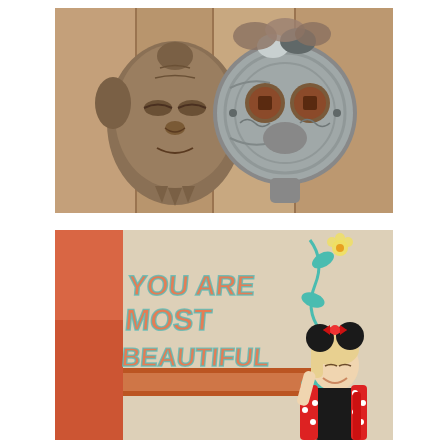[Figure (photo): Two African wooden/metal decorative masks hanging on a wooden plank wall. The left mask is a carved wooden face with closed eyes and detailed facial features. The right mask is a round metallic silver mask with large circular eyes and brown accents.]
[Figure (photo): A smiling blonde woman wearing a Minnie Mouse costume (red and white polka dot outfit with black Minnie Mouse ears and a red bow) standing in front of a painted wall that reads 'YOU ARE MOST BEAUTIFUL' in colorful orange and blue lettering with teal floral vine decorations. The wall has a rust-orange stripe and appears to be in an African-themed area of a Disney theme park.]